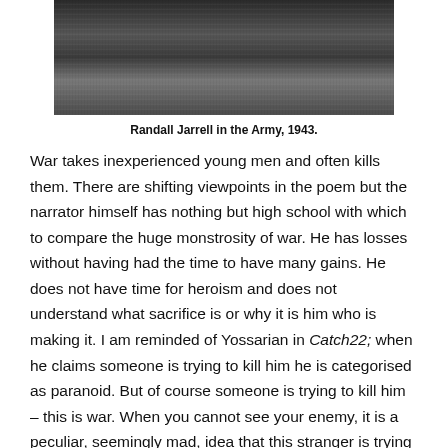[Figure (photo): Black and white photograph of Randall Jarrell in the Army, 1943, showing military equipment/machinery]
Randall Jarrell in the Army, 1943.
War takes inexperienced young men and often kills them. There are shifting viewpoints in the poem but the narrator himself has nothing but high school with which to compare the huge monstrosity of war. He has losses without having had the time to have many gains. He does not have time for heroism and does not understand what sacrifice is or why it is him who is making it. I am reminded of Yossarian in Catch22; when he claims someone is trying to kill him he is categorised as paranoid. But of course someone is trying to kill him – this is war. When you cannot see your enemy, it is a peculiar, seemingly mad, idea that this stranger is trying to shoot down your plane and hurt you when you have never met him. Also in Catch 22, every